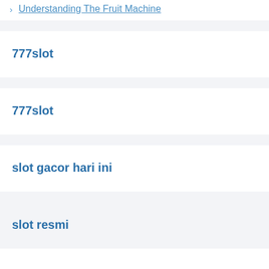> Understanding The Fruit Machine
777slot
777slot
slot gacor hari ini
slot resmi